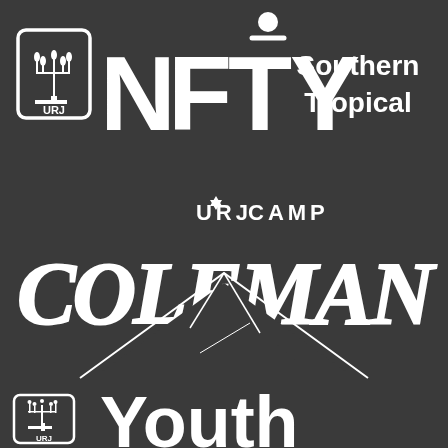[Figure (logo): NFTY Southern Tropical logo with URJ menorah emblem on white background, white letters on dark gray background]
[Figure (logo): URJ Camp Coleman logo with large collegiate COLEMAN lettering and mountain silhouette, white on dark gray]
[Figure (logo): URJ Youth logo with URJ menorah emblem, white on dark gray, partially visible at bottom]